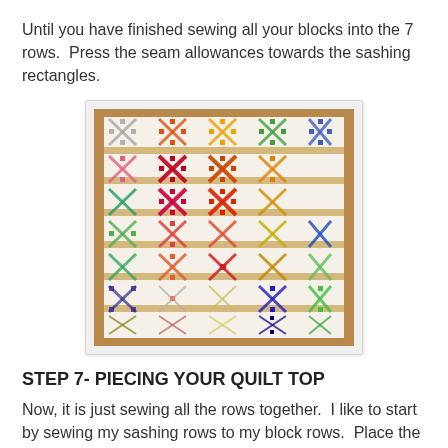Until you have finished sewing all your blocks into the 7 rows.  Press the seam allowances towards the sashing rectangles.
[Figure (photo): A colorful quilt top laid flat on a wooden surface, showing multiple rows of blocks with X patterns in various colors including red, orange, yellow, blue, green, and purple on a white background, separated by sashing strips.]
STEP 7- PIECING YOUR QUILT TOP
Now, it is just sewing all the rows together.  I like to start by sewing my sashing rows to my block rows.  Place the sashing rows onto the block rows with right sides together.